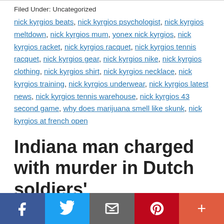Filed Under: Uncategorized
nick kyrgios beats, nick kyrgios psychologist, nick kyrgios meltdown, nick kyrgios mum, yonex nick kyrgios, nick kyrgios racket, nick kyrgios racquet, nick kyrgios tennis racquet, nick kyrgios gear, nick kyrgios nike, nick kyrgios clothing, nick kyrgios shirt, nick kyrgios necklace, nick kyrgios training, nick kyrgios underwear, nick kyrgios latest news, nick kyrgios tennis warehouse, nick kyrgios 43 second game, why does marijuana smell like skunk, nick kyrgios at french open
Indiana man charged with murder in Dutch soldiers'
f  Twitter  Email  Pinterest  +